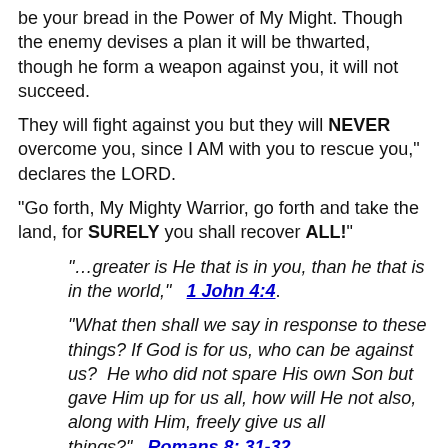be your bread in the Power of My Might. Though the enemy devises a plan it will be thwarted, though he form a weapon against you, it will not succeed.
They will fight against you but they will NEVER overcome you, since I AM with you to rescue you," declares the LORD.
"Go forth, My Mighty Warrior, go forth and take the land, for SURELY you shall recover ALL!"
"…greater is He that is in you, than he that is in the world,"   1 John 4:4.
"What then shall we say in response to these things? If God is for us, who can be against us?  He who did not spare His own Son but gave Him up for us all, how will He not also, along with Him, freely give us all things?"   Romans 8: 31-32.
"If the Lord delights in us, then He will bring us into this land and give it to us, a land flowing with milk and